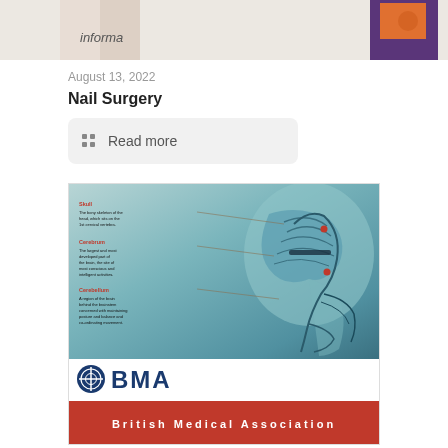[Figure (photo): Cropped top strip showing a book cover with 'informa' text label and a purple/orange book cover element on the right]
August 13, 2022
Nail Surgery
Read more
[Figure (illustration): BMA (British Medical Association) branded card showing a medical anatomical illustration of the human head in cross-section with brain regions labeled: Skull, Cerebrum, Cerebellum. BMA logo and 'British Medical Association' text at the bottom on a red bar.]